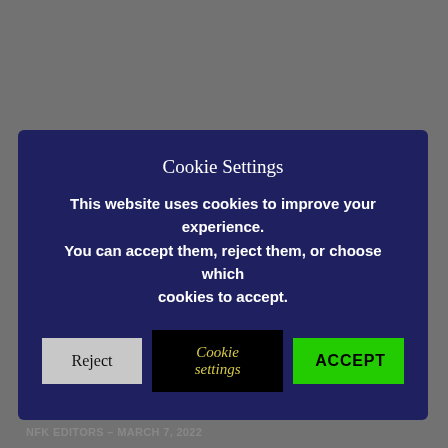Last week, he became the youngest person to bring a petition before Scotland's Parliament.
Nations Agree on Treaty to Fight Plastic Pollution
NFK EDITORS – MARCH 7, 2022
Cookie Settings
This website uses cookies to improve your experience. You can accept them, reject them, or choose which cookies to accept.
Reject | Cookie settings | ACCEPT